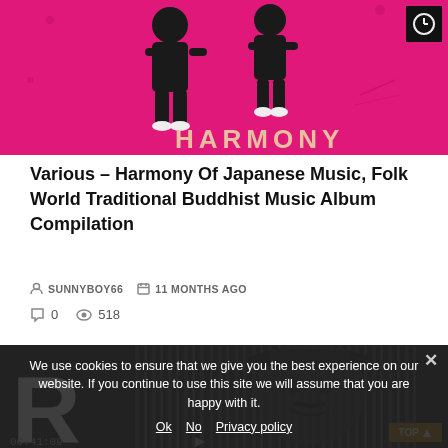[Figure (photo): Album cover image with pink/magenta background showing silhouetted figures and the word HARMONY at the bottom, with a clock icon overlay in top right]
Various – Harmony Of Japanese Music, Folk World Traditional Buddhist Music Album Compilation
SUNNYBOY66  11 MONTHS AGO
0  518
[Figure (photo): Black and white image showing large letter R on left and a face silhouette with hat against vertical striped background, with timestamp 00:41:09 at bottom left and TOP navigation element at bottom right]
We use cookies to ensure that we give you the best experience on our website. If you continue to use this site we will assume that you are happy with it.
Ok  No  Privacy policy